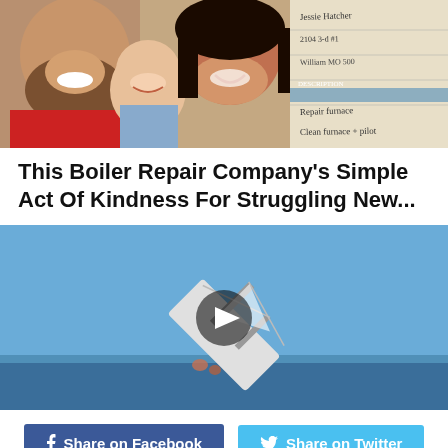[Figure (photo): Left: smiling family photo — man in red shirt, baby, and woman. Right: handwritten invoice/receipt document.]
This Boiler Repair Company's Simple Act Of Kindness For Struggling New...
[Figure (photo): Video thumbnail showing a boat capsizing/sinking in ocean with a play button overlay.]
Share on Facebook | Share on Twitter